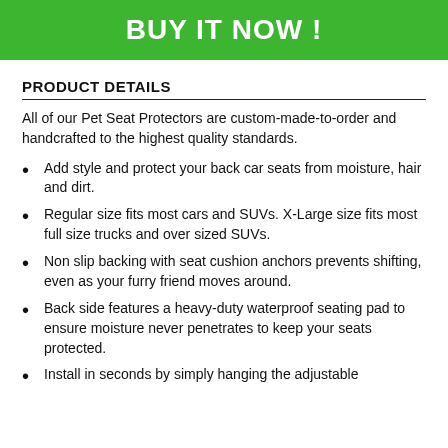BUY IT NOW !
PRODUCT DETAILS
All of our Pet Seat Protectors are custom-made-to-order and handcrafted to the highest quality standards.
Add style and protect your back car seats from moisture, hair and dirt.
Regular size fits most cars and SUVs. X-Large size fits most full size trucks and over sized SUVs.
Non slip backing with seat cushion anchors prevents shifting, even as your furry friend moves around.
Back side features a heavy-duty waterproof seating pad to ensure moisture never penetrates to keep your seats protected.
Install in seconds by simply hanging the adjustable